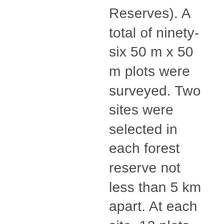Reserves). A total of ninety-six 50 m x 50 m plots were surveyed. Two sites were selected in each forest reserve not less than 5 km apart. At each site, 12 plots were randomly and evenly demarcated at distances 0–30 m from the edge, 100–200 m from the edge and >200 m from the edge. Plot distances were kept at not less than 100 m. In each plot liana stems with diameter of ≥1 cm at 1.3 m from the rooting point were identified and enumerated. Liana species richness was comparable among habitats in the wet evergreen ecosystem.